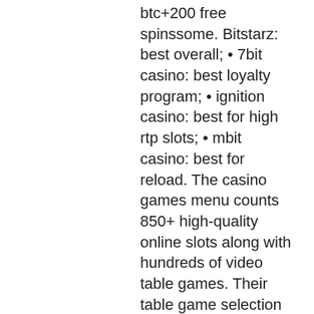btc+200 free spinssome. Bitstarz: best overall; • 7bit casino: best loyalty program; • ignition casino: best for high rtp slots; • mbit casino: best for reload. The casino games menu counts 850+ high-quality online slots along with hundreds of video table games. Their table game selection spreads across. Bitcoin bonuses ☑ crypto benefits ☑ top 10 casinos. Lv – quality casino site for both slots and bitcoin lovers. There are now dozens of bitcoin online casinos, each offering a unique portfolio of betting games like roulette and online slots to crypto-currency customers. Top crypto sports betting options - bovada; best for poker - ignition; best new cryptocurrency site - red dog casino; best for online slots -. best for switching between bitcoin. The variety of online slots has considerably expanded in recent years, from the traditional 3-reels to the more thrilling 5-reels, with progressive jackpots.